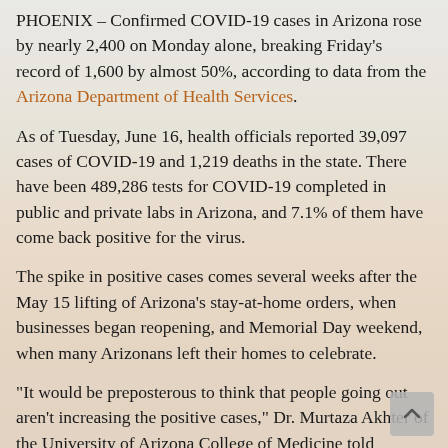PHOENIX – Confirmed COVID-19 cases in Arizona rose by nearly 2,400 on Monday alone, breaking Friday's record of 1,600 by almost 50%, according to data from the Arizona Department of Health Services.
As of Tuesday, June 16, health officials reported 39,097 cases of COVID-19 and 1,219 deaths in the state. There have been 489,286 tests for COVID-19 completed in public and private labs in Arizona, and 7.1% of them have come back positive for the virus.
The spike in positive cases comes several weeks after the May 15 lifting of Arizona's stay-at-home orders, when businesses began reopening, and Memorial Day weekend, when many Arizonans left their homes to celebrate.
“It would be preposterous to think that people going out aren’t increasing the positive cases,” Dr. Murtaza Akhter of the University of Arizona College of Medicine told Cronkite News on Tuesday. “One of my concerns is whether people are ever going to take public health emergencies seriously.”